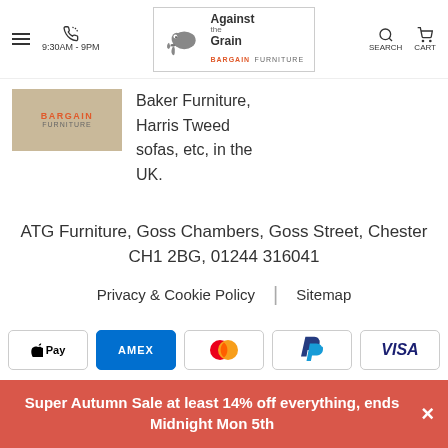Against the Grain Bargain Furniture — 9:30AM - 9PM — SEARCH — CART
[Figure (logo): Against the Grain Bargain Furniture logo with elephant graphic]
[Figure (logo): Bargain Furniture badge in tan/beige background]
Baker Furniture, Harris Tweed sofas, etc, in the UK.
ATG Furniture, Goss Chambers, Goss Street, Chester CH1 2BG, 01244 316041
Privacy & Cookie Policy | Sitemap
[Figure (infographic): Payment method icons: Apple Pay, American Express, Mastercard, PayPal, Visa]
Super Autumn Sale at least 14% off everything, ends Midnight Mon 5th